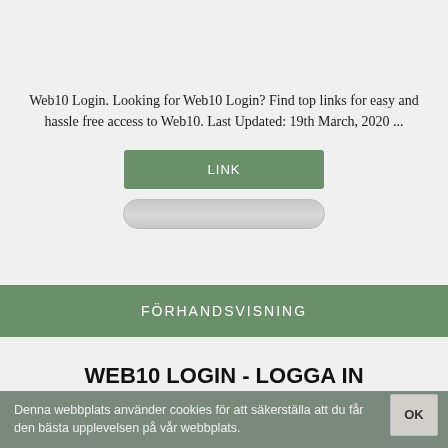Web10 Login. Looking for Web10 Login? Find top links for easy and hassle free access to Web10. Last Updated: 19th March, 2020 ...
[Figure (other): Green LINK button]
[Figure (other): Gray rounded input bar]
[Figure (other): Green FÖRHANDSVISNING bar]
WEB10 LOGIN - LOGGA IN WEBBPLATSER
Denna webbplats använder cookies för att säkerställa att du får den bästa upplevelsen på vår webbplats.